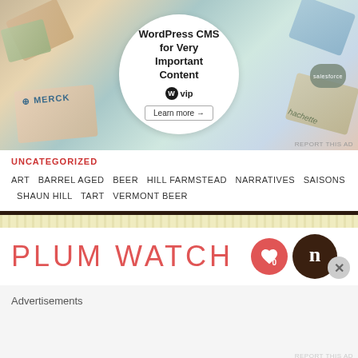[Figure (screenshot): WordPress VIP advertisement banner showing colorful overlapping cards/logos (including Merck, Hachette, Salesforce) with a circular white center containing text 'WordPress CMS for Very Important Content' with WP VIP logo and 'Learn more →' button]
REPORT THIS AD
UNCATEGORIZED
ART  BARREL AGED  BEER  HILL FARMSTEAD  NARRATIVES  SAISONS  SHAUN HILL  TART  VERMONT BEER
PLUM WATCH
Advertisements
REPORT THIS AD